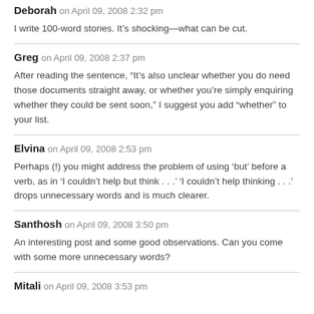Deborah on April 09, 2008 2:32 pm
I write 100-word stories. It’s shocking—what can be cut.
Greg on April 09, 2008 2:37 pm
After reading the sentence, “It’s also unclear whether you do need those documents straight away, or whether you’re simply enquiring whether they could be sent soon,” I suggest you add “whether” to your list.
Elvina on April 09, 2008 2:53 pm
Perhaps (!) you might address the problem of using ‘but’ before a verb, as in ‘I couldn’t help but think . . .’ ‘I couldn’t help thinking . . .’ drops unnecessary words and is much clearer.
Santhosh on April 09, 2008 3:50 pm
An interesting post and some good observations. Can you come with some more unnecessary words?
Mitali on April 09, 2008 3:53 pm